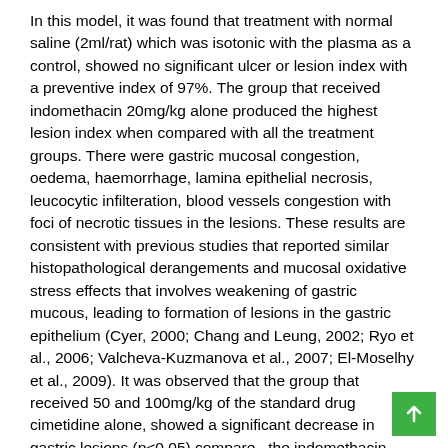In this model, it was found that treatment with normal saline (2ml/rat) which was isotonic with the plasma as a control, showed no significant ulcer or lesion index with a preventive index of 97%. The group that received indomethacin 20mg/kg alone produced the highest lesion index when compared with all the treatment groups. There were gastric mucosal congestion, oedema, haemorrhage, lamina epithelial necrosis, leucocytic infilteration, blood vessels congestion with foci of necrotic tissues in the lesions. These results are consistent with previous studies that reported similar histopathological derangements and mucosal oxidative stress effects that involves weakening of gastric mucous, leading to formation of lesions in the gastric epithelium (Cyer, 2000; Chang and Leung, 2002; Ryo et al., 2006; Valcheva-Kuzmanova et al., 2007; El-Moselhy et al., 2009). It was observed that the group that received 50 and 100mg/kg of the standard drug cimetidine alone, showed a significant decrease in gastric lesions (p<0.05) compared the indomethacin 20mg/kg, cimetidine plus indomethacin